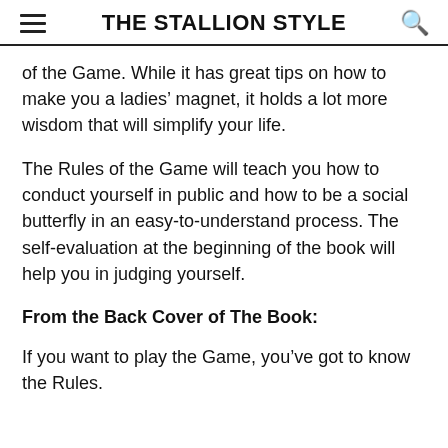THE STALLION STYLE
of the Game. While it has great tips on how to make you a ladies' magnet, it holds a lot more wisdom that will simplify your life.
The Rules of the Game will teach you how to conduct yourself in public and how to be a social butterfly in an easy-to-understand process. The self-evaluation at the beginning of the book will help you in judging yourself.
From the Back Cover of The Book:
If you want to play the Game, you’ve got to know the Rules.